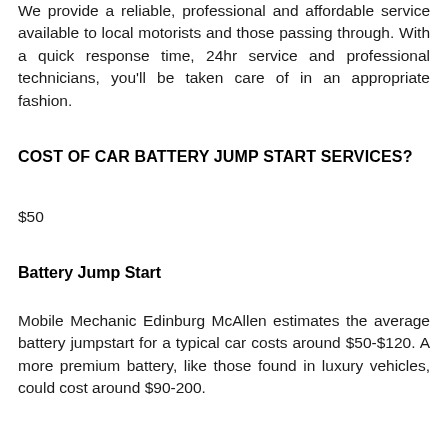We provide a reliable, professional and affordable service available to local motorists and those passing through. With a quick response time, 24hr service and professional technicians, you'll be taken care of in an appropriate fashion.
COST OF CAR BATTERY JUMP START SERVICES?
$50
Battery Jump Start
Mobile Mechanic Edinburg McAllen estimates the average battery jumpstart for a typical car costs around $50-$120. A more premium battery, like those found in luxury vehicles, could cost around $90-200.